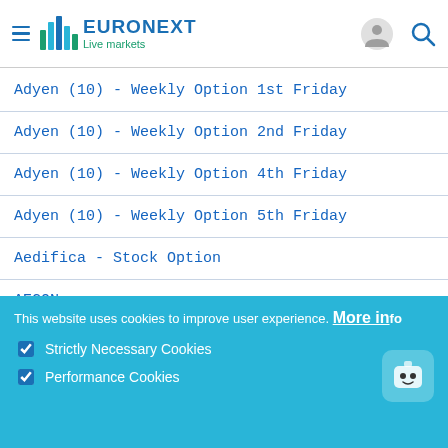EURONEXT Live markets
Adyen (10) - Weekly Option 1st Friday
Adyen (10) - Weekly Option 2nd Friday
Adyen (10) - Weekly Option 4th Friday
Adyen (10) - Weekly Option 5th Friday
Aedifica - Stock Option
AEGON
AEGON Weekly Option - Week 1
This website uses cookies to improve user experience. More info
Strictly Necessary Cookies
Performance Cookies